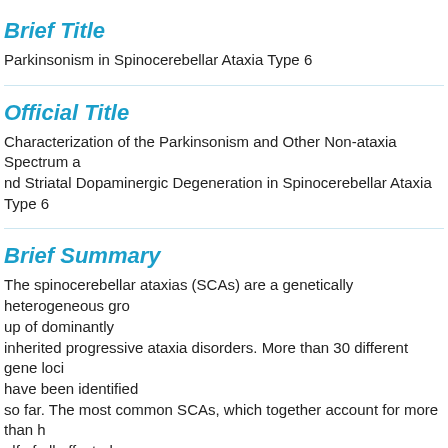Brief Title
Parkinsonism in Spinocerebellar Ataxia Type 6
Official Title
Characterization of the Parkinsonism and Other Non-ataxia Spectrum and Striatal Dopaminergic Degeneration in Spinocerebellar Ataxia Type 6
Brief Summary
The spinocerebellar ataxias (SCAs) are a genetically heterogeneous group of dominantly inherited progressive ataxia disorders. More than 30 different gene loci have been identified so far. The most common SCAs, which together account for more than half of all affected families, are SCA1, SCA2, SCA3, and SCA6. Each of these disorders is